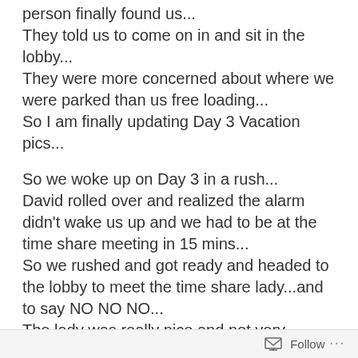person finally found us...
They told us to come on in and sit in the lobby...
They were more concerned about where we were parked than us free loading...
So I am finally updating Day 3 Vacation pics...

So we woke up on Day 3 in a rush...
David rolled over and realized the alarm didn’t wake us up and we had to be at the time share meeting in 15 mins...
So we rushed and got ready and headed to the lobby to meet the time share lady...and to say NO NO NO...
The lady was really nice and not very pressuring....that is until her second half...her manager aka the closer came over...they tried and tried to sell us this timeshare and we were good and told them no...it was a nice offer and REALLY hard to
Follow